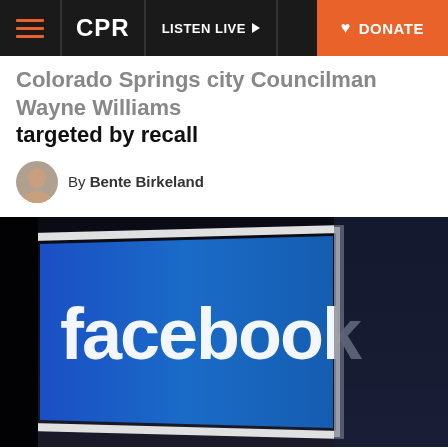CPR | LISTEN LIVE | DONATE
Colorado Springs city Councilman Wayne Williams targeted by recall
By Bente Birkeland
[Figure (photo): Facebook logo on a blue digital screen sign against dark background]